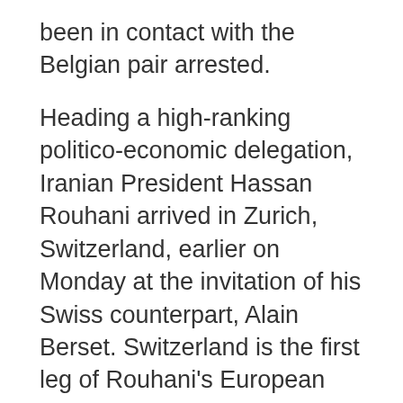been in contact with the Belgian pair arrested.
Heading a high-ranking politico-economic delegation, Iranian President Hassan Rouhani arrived in Zurich, Switzerland, earlier on Monday at the invitation of his Swiss counterpart, Alain Berset. Switzerland is the first leg of Rouhani's European tour, which will also take him to Austria.
› Subscribe  Google News
TAGS  Iran-France Relations  MKO (MEK)  Mohammad Javad Zarif  Terrorism